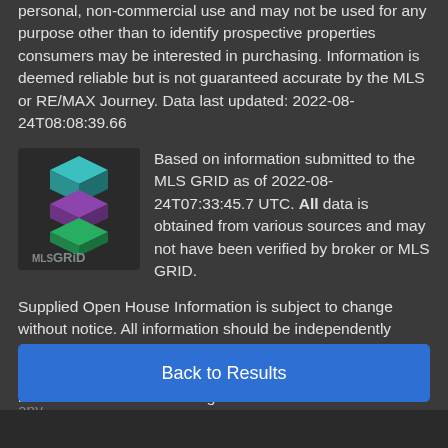personal, non-commercial use and may not be used for any purpose other than to identify prospective properties consumers may be interested in purchasing. Information is deemed reliable but is not guaranteed accurate by the MLS or RE/MAX Journey. Data last updated: 2022-08-24T08:08:39.66
[Figure (logo): MLS GRID logo with colorful stacked cube shapes above text 'MLS GRiD']
Based on information submitted to the MLS GRID as of 2022-08-24T07:33:45.7 UTC. All data is obtained from various sources and may not have been verified by broker or MLS GRID. Supplied Open House Information is subject to change without notice. All information should be independently reviewed and verified for accuracy. Properties may or may not be listed by the office/agent presenting the information.The data relating to real estate on this Web site derive in part from the Canopy MLS IDX program. Brokers make an effort to deliver accurate information, but buyers should independently verify any information on which they will rely in a transaction. All properties are subject to prior
sale, change or withdrawal. Neither RE/MAX Journey nor any
Back to Results